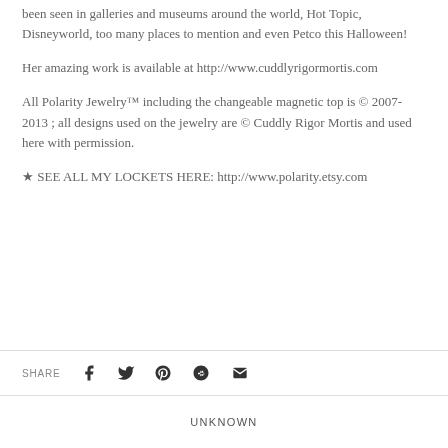been seen in galleries and museums around the world, Hot Topic, Disneyworld, too many places to mention and even Petco this Halloween!
Her amazing work is available at http://www.cuddlyrigormortis.com
All Polarity Jewelry™ including the changeable magnetic top is © 2007-2013 ; all designs used on the jewelry are © Cuddly Rigor Mortis and used here with permission.
★ SEE ALL MY LOCKETS HERE: http://www.polarity.etsy.com
SHARE  [social icons]  UNKNOWN